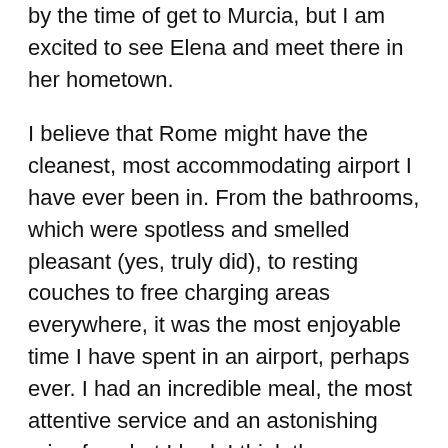by the time of get to Murcia, but I am excited to see Elena and meet there in her hometown.
I believe that Rome might have the cleanest, most accommodating airport I have ever been in. From the bathrooms, which were spotless and smelled pleasant (yes, truly did), to resting couches to free charging areas everywhere, it was the most enjoyable time I have spent in an airport, perhaps ever. I had an incredible meal, the most attentive service and an astonishing price for what I had. I think there are a number of airports who should take some lessons. As I traveled through the airport, I think, once again, I saw the most diversity in one place I have ever experienced. From Africa to the Middle East, from Northern Europeans to those from maybe Serbia or Montenegro, from Americans to Russians, I think there was a bit of it